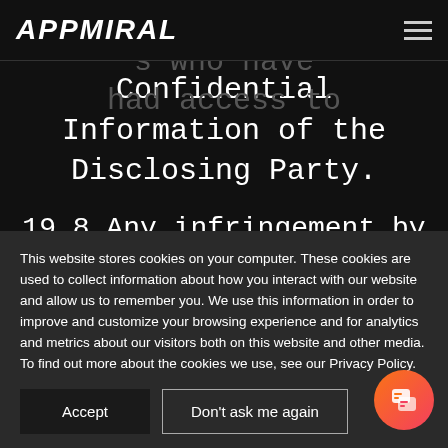[Figure (logo): APPMIRAL logo in white bold italic text on black background]
employees or other
s who have
had access to
Confidential Information of the Disclosing Party.
19.8 Any infringement by the Receiving Party of its
This website stores cookies on your computer. These cookies are used to collect information about how you interact with our website and allow us to remember you. We use this information in order to improve and customize your browsing experience and for analytics and metrics about our visitors both on this website and other media. To find out more about the cookies we use, see our Privacy Policy.